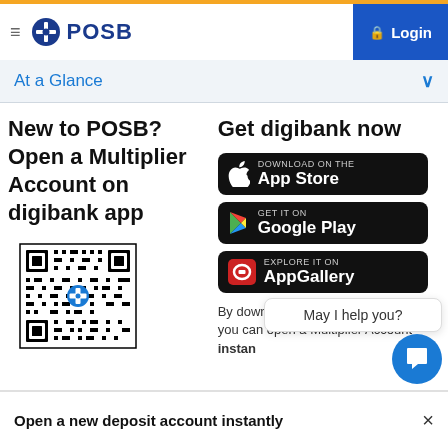POSB — Login
At a Glance
New to POSB? Open a Multiplier Account on digibank app
[Figure (other): QR code with POSB logo in center]
Get digibank now
[Figure (other): Download on the App Store button]
[Figure (other): GET IT ON Google Play button]
[Figure (other): EXPLORE IT ON AppGallery button]
By downloading the DBS app, you can open a Multiplier Account instantly
May I help you?
Open a new deposit account instantly